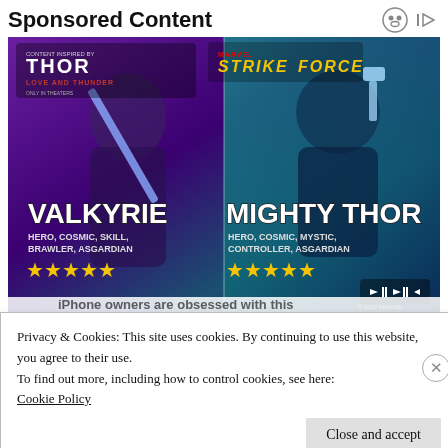Sponsored Content
[Figure (illustration): Marvel Strike Force game advertisement featuring two characters: Valkyrie (Hero, Cosmic, Skill, Brawler, Asgardian) and Mighty Thor (Hero, Cosmic, Mystic, Controller, Asgardian) with five star ratings under each, set against a purple and teal background. Thor: Love and Thunder and Marvel Strike Force logos visible.]
iPhone owners are obsessed with this
Privacy & Cookies: This site uses cookies. By continuing to use this website, you agree to their use.
To find out more, including how to control cookies, see here:
Cookie Policy
Close and accept